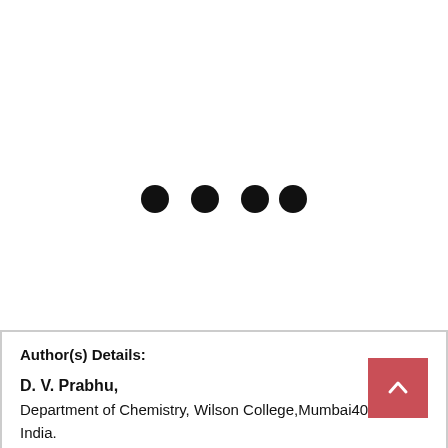[Figure (other): Four black dots arranged horizontally in the center of the page, suggesting a loading indicator or decorative separator. The rightmost two dots are slightly closer together.]
Author(s) Details:
D. V. Prabhu,
Department of Chemistry, Wilson College,Mumbai40007, India.